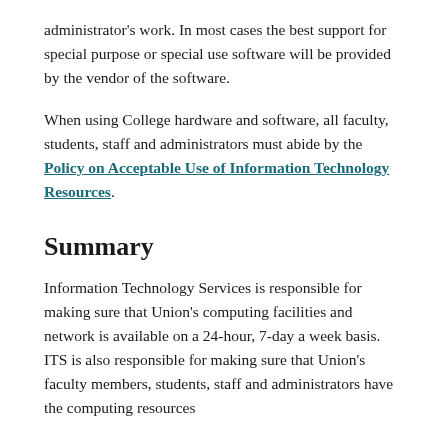administrator's work. In most cases the best support for special purpose or special use software will be provided by the vendor of the software.
When using College hardware and software, all faculty, students, staff and administrators must abide by the Policy on Acceptable Use of Information Technology Resources.
Summary
Information Technology Services is responsible for making sure that Union's computing facilities and network is available on a 24-hour, 7-day a week basis. ITS is also responsible for making sure that Union's faculty members, students, staff and administrators have the computing resources